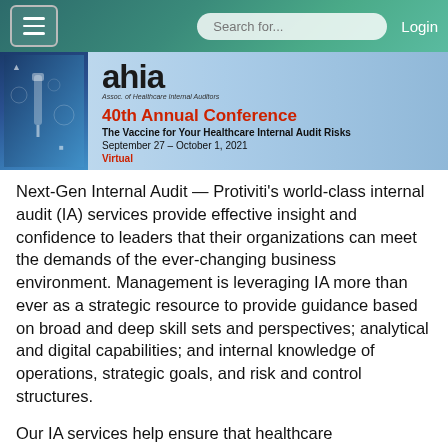☰  Search for...  Login
[Figure (logo): AHIA 40th Annual Conference banner with logo and decorative medical/technology imagery]
Next-Gen Internal Audit — Protiviti's world-class internal audit (IA) services provide effective insight and confidence to leaders that their organizations can meet the demands of the ever-changing business environment. Management is leveraging IA more than ever as a strategic resource to provide guidance based on broad and deep skill sets and perspectives; analytical and digital capabilities; and internal knowledge of operations, strategic goals, and risk and control structures.
Our IA services help ensure that healthcare organizations become more innovative and explore new technologies, identify and mitigate emerging risks, develop creative solutions to address complex business challenges, and